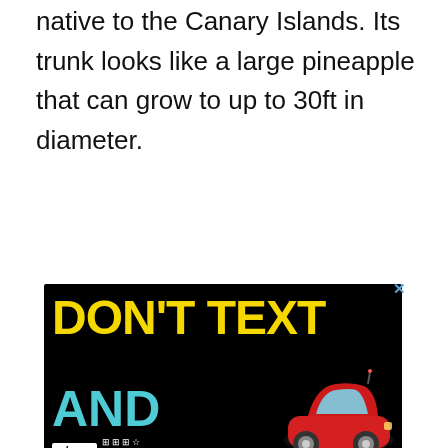native to the Canary Islands. Its trunk looks like a large pineapple that can grow to up to 30ft in diameter.
[Figure (screenshot): Advertisement banner with black background showing 'DON'T TEXT AND [car image]' public safety message by Ad Council and NHTSA. A red cartoon car is shown on the right side. The ad has a close (X) button in the top right corner.]
[Figure (infographic): Sidebar UI elements: a green circular heart/like button, a count of 43, and a share button with arrow icon.]
[Figure (screenshot): 'WHAT'S NEXT' navigation bar showing '42+ Types Of Trees With...' with a circular thumbnail of trees.]
[Figure (screenshot): Yellow advertisement banner for COVID-19 vaccine information: 'It's okay to question. Now get the facts on COVID-19 vaccines GetVaccineAnswers.org'. A close (X) button is visible.]